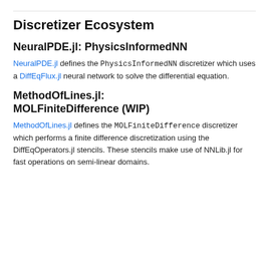Discretizer Ecosystem
NeuralPDE.jl: PhysicsInformedNN
NeuralPDE.jl defines the PhysicsInformedNN discretizer which uses a DiffEqFlux.jl neural network to solve the differential equation.
MethodOfLines.jl: MOLFiniteDifference (WIP)
MethodOfLines.jl defines the MOLFiniteDifference discretizer which performs a finite difference discretization using the DiffEqOperators.jl stencils. These stencils make use of NNLib.jl for fast operations on semi-linear domains.